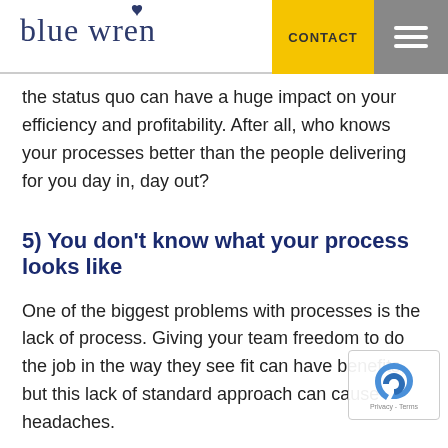blue wren | CONTACT
the status quo can have a huge impact on your efficiency and profitability. After all, who knows your processes better than the people delivering for you day in, day out?
5) You don’t know what your process looks like
One of the biggest problems with processes is the lack of process. Giving your team freedom to do the job in the way they see fit can have benefits, but this lack of standard approach can cause headaches.
Take our business for example; we use agile project management. This isn’t just for the efficiency gains, but it